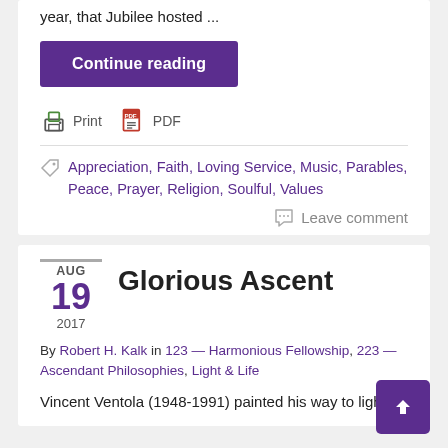year, that Jubilee hosted ...
Continue reading
Print   PDF
Appreciation, Faith, Loving Service, Music, Parables, Peace, Prayer, Religion, Soulful, Values
Leave comment
Glorious Ascent
AUG 19 2017
By Robert H. Kalk in 123 — Harmonious Fellowship, 223 — Ascendant Philosophies, Light & Life
Vincent Ventola (1948-1991) painted his way to light